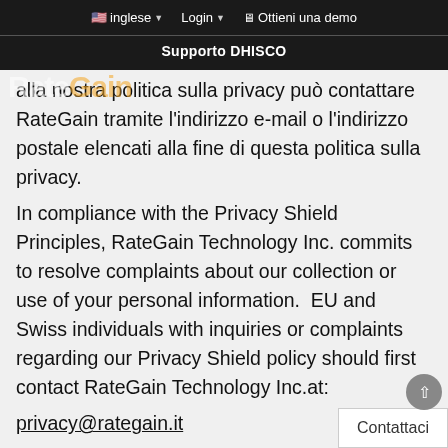inglese  Login  Ottieni una demo
Supporto DHISCO
alla nostra politica sulla privacy può contattare RateGain tramite l'indirizzo e-mail o l'indirizzo postale elencati alla fine di questa politica sulla privacy.
In compliance with the Privacy Shield Principles, RateGain Technology Inc. commits to resolve complaints about our collection or use of your personal information.  EU and Swiss individuals with inquiries or complaints regarding our Privacy Shield policy should first contact RateGain Technology Inc.at:
privacy@rategain.it
Three Lincoln Center
5430 LBJ Freeway
Suite 1100
Contattaci